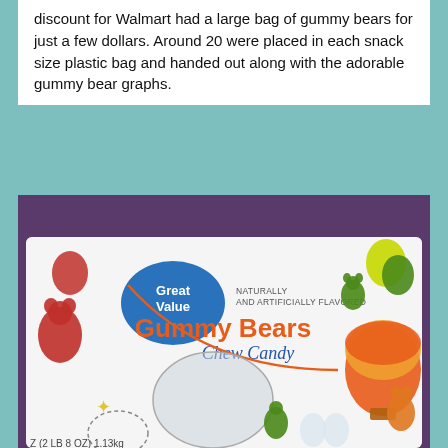discount for Walmart had a large bag of gummy bears for just a few dollars. Around 20 were placed in each snack size plastic bag and handed out along with the adorable gummy bear graphs.
[Figure (photo): A bag of Great Value Gummy Bears Chew Candy, naturally and artificially flavored, 2LB 8OZ (1.13kg), with colorful illustrations of gummy bears and hot air balloons on the packaging.]